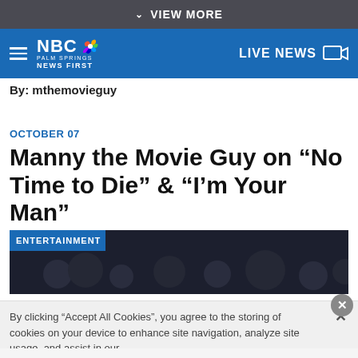VIEW MORE
[Figure (logo): NBC Palm Springs News First logo with hamburger menu and LIVE NEWS button on blue navigation bar]
By: mthemovieguy
OCTOBER 07
Manny the Movie Guy on “No Time to Die” & “I’m Your Man”
[Figure (photo): Dark entertainment image with ENTERTAINMENT badge overlay showing crowd scene]
By clicking “Accept All Cookies”, you agree to the storing of cookies on your device to enhance site navigation, analyze site usage, and assist in our